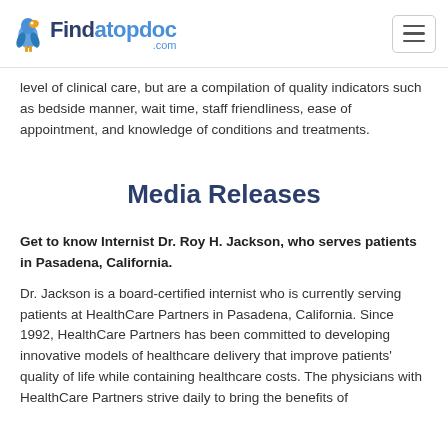Findatopdoc.com
level of clinical care, but are a compilation of quality indicators such as bedside manner, wait time, staff friendliness, ease of appointment, and knowledge of conditions and treatments.
Media Releases
Get to know Internist Dr. Roy H. Jackson, who serves patients in Pasadena, California.
Dr. Jackson is a board-certified internist who is currently serving patients at HealthCare Partners in Pasadena, California. Since 1992, HealthCare Partners has been committed to developing innovative models of healthcare delivery that improve patients' quality of life while containing healthcare costs. The physicians with HealthCare Partners strive daily to bring the benefits of